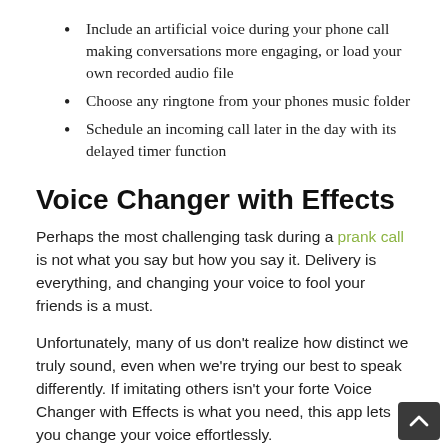Include an artificial voice during your phone call making conversations more engaging, or load your own recorded audio file
Choose any ringtone from your phones music folder
Schedule an incoming call later in the day with its delayed timer function
Voice Changer with Effects
Perhaps the most challenging task during a prank call is not what you say but how you say it. Delivery is everything, and changing your voice to fool your friends is a must.
Unfortunately, many of us don’t realize how distinct we truly sound, even when we’re trying our best to speak differently. If imitating others isn’t your forte Voice Changer with Effects is what you need, this app lets you change your voice effortlessly.
They come along with the app and are perfectly different to…